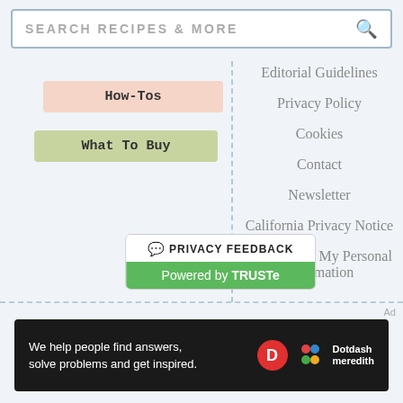SEARCH RECIPES & MORE
Editorial Guidelines
How-Tos
What To Buy
Privacy Policy
Cookies
Contact
Newsletter
California Privacy Notice
Do Not Sell My Personal Information
[Figure (logo): TRUSTe Privacy Feedback badge with green 'Powered by TRUSTe' bar]
[Figure (logo): Dotdash Meredith advertisement banner: 'We help people find answers, solve problems and get inspired.' with D circle logo and colorful dots logo]
Ad